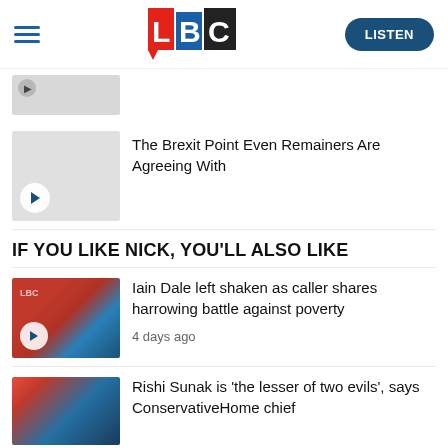LBC — LISTEN
[Figure (screenshot): Partially visible article thumbnail at top of page, clipped]
The Brexit Point Even Remainers Are Agreeing With
IF YOU LIKE NICK, YOU'LL ALSO LIKE
[Figure (photo): Photo of Iain Dale on LBC radio show]
Iain Dale left shaken as caller shares harrowing battle against poverty
4 days ago
[Figure (photo): Photo related to Rishi Sunak article]
Rishi Sunak is 'the lesser of two evils', says ConservativeHome chief